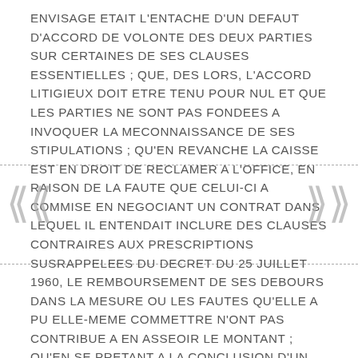ENVISAGE ETAIT L'ENTACHE D'UN DEFAUT D'ACCORD DE VOLONTE DES DEUX PARTIES SUR CERTAINES DE SES CLAUSES ESSENTIELLES ; QUE, DES LORS, L'ACCORD LITIGIEUX DOIT ETRE TENU POUR NUL ET QUE LES PARTIES NE SONT PAS FONDEES A INVOQUER LA MECONNAISSANCE DE SES STIPULATIONS ; QU'EN REVANCHE LA CAISSE EST EN DROIT DE RECLAMER A L'OFFICE, EN RAISON DE LA FAUTE QUE CELUI-CI A COMMISE EN NEGOCIANT UN CONTRAT DANS LEQUEL IL ENTENDAIT INCLURE DES CLAUSES CONTRAIRES AUX PRESCRIPTIONS SUSRAPPELEES DU DECRET DU 25 JUILLET 1960, LE REMBOURSEMENT DE SES DEBOURS DANS LA MESURE OU LES FAUTES QU'ELLE A PU ELLE-MEME COMMETTRE N'ONT PAS CONTRIBUE A EN ASSEOIR LE MONTANT ; QU'EN SE PRETANT A LA CONCLUSION D'UN ACCORD QUI, DANS LES STIPULATIONS QU'ELLE AVAIT EXPRESSEMENT ACCEPTEES, ETAIT CONTRAIRE TANT AUX CLAUSES DU